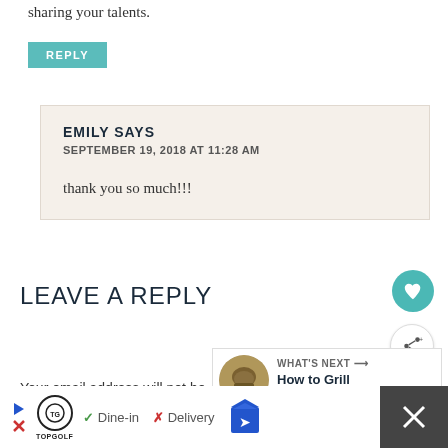sharing your talents.
REPLY
EMILY SAYS
SEPTEMBER 19, 2018 AT 11:28 AM

thank you so much!!!
LEAVE A REPLY
Your email address will not be published. Requi
marked *
[Figure (other): What's Next widget showing 'How to Grill Artichokes' with thumbnail image]
[Figure (other): Advertisement bar with TopGolf logo, Dine-in and Delivery options, map icon, and close button]